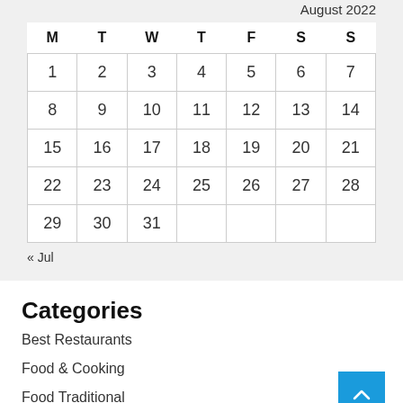August 2022
| M | T | W | T | F | S | S |
| --- | --- | --- | --- | --- | --- | --- |
| 1 | 2 | 3 | 4 | 5 | 6 | 7 |
| 8 | 9 | 10 | 11 | 12 | 13 | 14 |
| 15 | 16 | 17 | 18 | 19 | 20 | 21 |
| 22 | 23 | 24 | 25 | 26 | 27 | 28 |
| 29 | 30 | 31 |  |  |  |  |
« Jul
Categories
Best Restaurants
Food & Cooking
Food Traditional